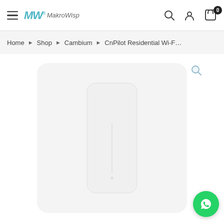MakroWisp — navigation header with hamburger menu, logo, search, user, and cart icons
Home > Shop > Cambium > CnPilot Residential Wi-F...
[Figure (photo): White wireless access point / router device (Cambium CnPilot Residential Wi-Fi) shown against a light gray rounded-rectangle background. A small magnify/zoom icon appears in the upper right area.]
[Figure (logo): WhatsApp floating action button (green circle with WhatsApp icon) in bottom-right corner]